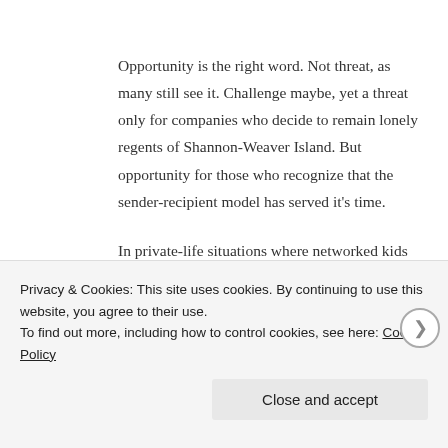Opportunity is the right word. Not threat, as many still see it. Challenge maybe, yet a threat only for companies who decide to remain lonely regents of Shannon-Weaver Island. But opportunity for those who recognize that the sender-recipient model has served it's time.
In private-life situations where networked kids are getting smarter, no longer just say “SIR, YES, SIR!” when you tell them what to do, but – like it or not – want to understand, want discourse, want dialogue, want to be taken seriously, and embark on a life-long
Privacy & Cookies: This site uses cookies. By continuing to use this website, you agree to their use.
To find out more, including how to control cookies, see here: Cookie Policy
Close and accept